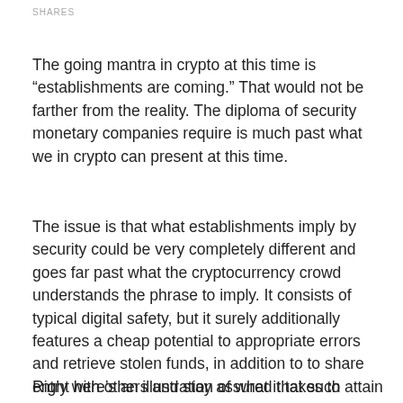SHARES
The going mantra in crypto at this time is “establishments are coming.” That would not be farther from the reality. The diploma of security monetary companies require is much past what we in crypto can present at this time.
The issue is that what establishments imply by security could be very completely different and goes far past what the cryptocurrency crowd understands the phrase to imply. It consists of typical digital safety, but it surely additionally features a cheap potential to appropriate errors and retrieve stolen funds, in addition to to share entry with others and stay assured that such sharing gained’t result in issues.
Right here’s an illustration of what it takes to attain